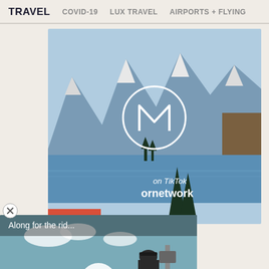TRAVEL  COVID-19  LUX TRAVEL  AIRPORTS + FLYING
[Figure (photo): Mountain lake scenic photo with snow-capped peaks, blue lake, pine trees, and a circular logo overlay with stylized M in center. Overlaid text reads 'on TikTok' and 'ornetwork'. Red rectangle visible at bottom left of image.]
[Figure (screenshot): Video thumbnail showing a road/highway scene with a person in dark clothing and cap. Text overlay reads 'Along for the rid...' with a white play button circle.]